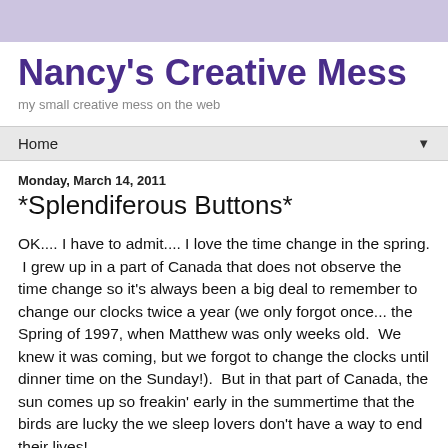Nancy's Creative Mess
my small creative mess on the web
Home ▼
Monday, March 14, 2011
*Splendiferous Buttons*
OK.... I have to admit.... I love the time change in the spring.  I grew up in a part of Canada that does not observe the time change so it's always been a big deal to remember to change our clocks twice a year (we only forgot once... the Spring of 1997, when Matthew was only weeks old.  We knew it was coming, but we forgot to change the clocks until dinner time on the Sunday!).  But in that part of Canada, the sun comes up so freakin' early in the summertime that the birds are lucky the we sleep lovers don't have a way to end their lives!